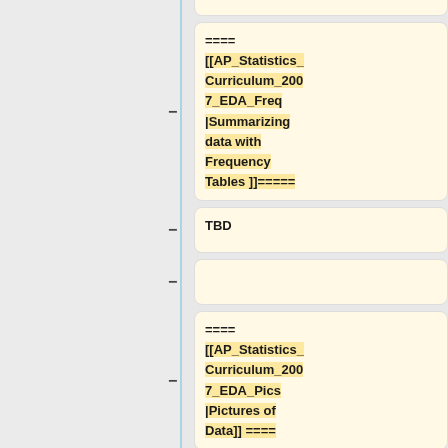Data===
==== [[AP_Statistics_Curriculum_2007_EDA_Freq|Summarizing data with Frequency Tables ]]====
TBD
==== [[AP_Statistics_Curriculum_2007_EDA_Pics|Pictures of Data]] ====
TBD